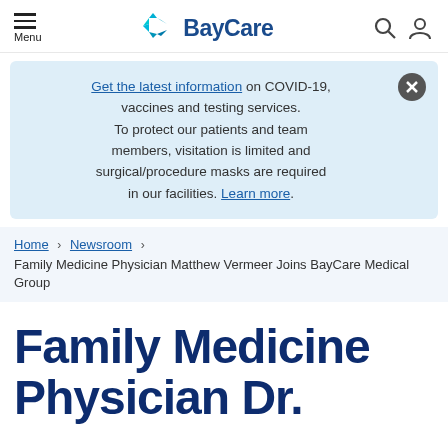Menu | BayCare | Search | Account
Get the latest information on COVID-19, vaccines and testing services. To protect our patients and team members, visitation is limited and surgical/procedure masks are required in our facilities. Learn more.
Home > Newsroom > Family Medicine Physician Matthew Vermeer Joins BayCare Medical Group
Family Medicine Physician Dr.